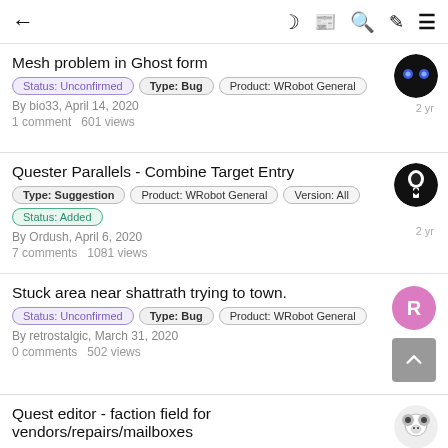← (back arrow) | dark-mode, grid, search, brush, menu icons
Mesh problem in Ghost form | Status: Unconfirmed | Type: Bug | Product: WRobot General | By bio33, April 14, 2020 | 1 comment 601 views | 2 yr
Quester Parallels - Combine Target Entry | Type: Suggestion | Product: WRobot General | Version: All | Status: Added | By Ordush, April 6, 2020 | 7 comments 1081 views | 2 yr
Stuck area near shattrath trying to town. | Status: Unconfirmed | Type: Bug | Product: WRobot General | By retrostalgic, March 31, 2020 | 0 comments 502 views | 2 yr
Quest editor - faction field for vendors/repairs/mailboxes